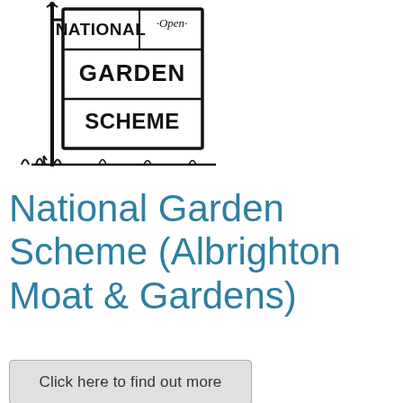[Figure (logo): National Open Garden Scheme logo — black ink illustration of a sign post with a board reading NATIONAL OPEN GARDEN SCHEME in bold block letters, with grass/foliage at the base]
National Garden Scheme (Albrighton Moat & Gardens)
Click here to find out more